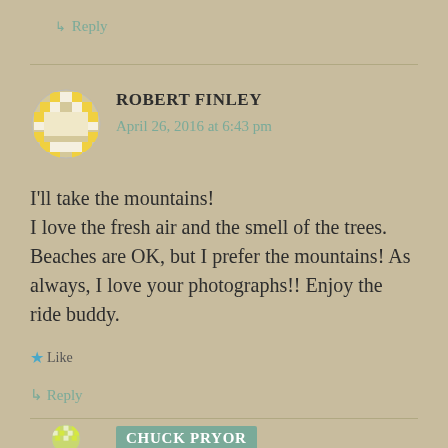↳ Reply
[Figure (illustration): Circular avatar for Robert Finley with yellow and white checkered/mosaic pattern on tan background]
ROBERT FINLEY
April 26, 2016 at 6:43 pm
I'll take the mountains!
I love the fresh air and the smell of the trees. Beaches are OK, but I prefer the mountains! As always, I love your photographs!! Enjoy the ride buddy.
★ Like
↳ Reply
[Figure (illustration): Circular avatar for Chuck Pryor with yellow-green and white pattern]
CHUCK PRYOR
April 26, 2016 at 8:41 pm